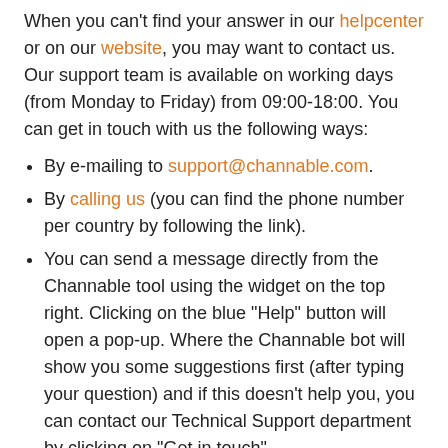When you can't find your answer in our helpcenter or on our website, you may want to contact us. Our support team is available on working days (from Monday to Friday) from 09:00-18:00. You can get in touch with us the following ways:
By e-mailing to support@channable.com.
By calling us (you can find the phone number per country by following the link).
You can send a message directly from the Channable tool using the widget on the top right. Clicking on the blue "Help" button will open a pop-up. Where the Channable bot will show you some suggestions first (after typing your question) and if this doesn't help you, you can contact our Technical Support department by clicking on "Get in touch".
Or you can send a message directly from the Helpcenter using the widget at the bottom right. Clicking on the blue "Support" button will open a pop-up where the Channable bot will show you some